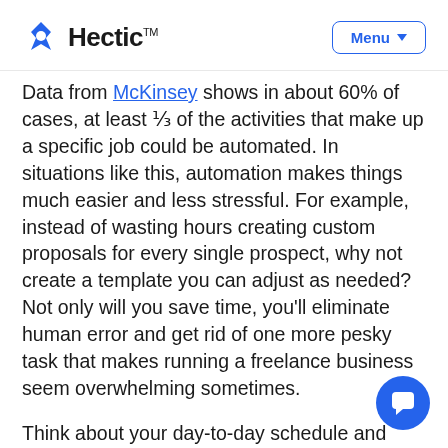Hectic™ | Menu
Data from McKinsey shows in about 60% of cases, at least ⅓ of the activities that make up a specific job could be automated. In situations like this, automation makes things much easier and less stressful. For example, instead of wasting hours creating custom proposals for every single prospect, why not create a template you can adjust as needed? Not only will you save time, you'll eliminate human error and get rid of one more pesky task that makes running a freelance business seem overwhelming sometimes.
Think about your day-to-day schedule and where you spend the most time. What tasks can you